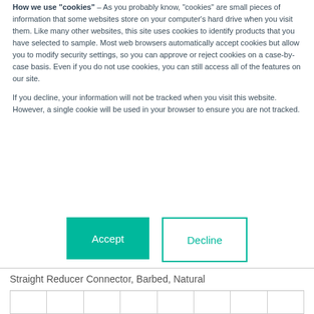How we use "cookies" – As you probably know, "cookies" are small pieces of information that some websites store on your computer's hard drive when you visit them. Like many other websites, this site uses cookies to identify products that you have selected to sample. Most web browsers automatically accept cookies but allow you to modify security settings, so you can approve or reject cookies on a case-by-case basis. Even if you do not use cookies, you can still access all of the features on our site.

If you decline, your information will not be tracked when you visit this website. However, a single cookie will be used in your browser to ensure you are not tracked.
[Figure (other): Accept button (teal filled) and Decline button (teal outlined) side by side]
Straight Reducer Connector, Barbed, Natural
[Figure (photo): Product image area (light gray background, product not fully visible)]
|  |